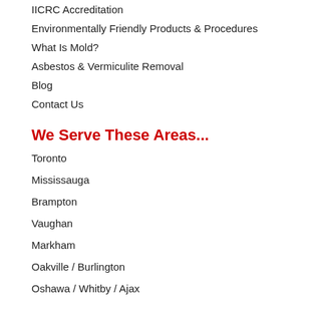IICRC Accreditation
Environmentally Friendly Products & Procedures
What Is Mold?
Asbestos & Vermiculite Removal
Blog
Contact Us
We Serve These Areas...
Toronto
Mississauga
Brampton
Vaughan
Markham
Oakville / Burlington
Oshawa / Whitby / Ajax
Get In Touch